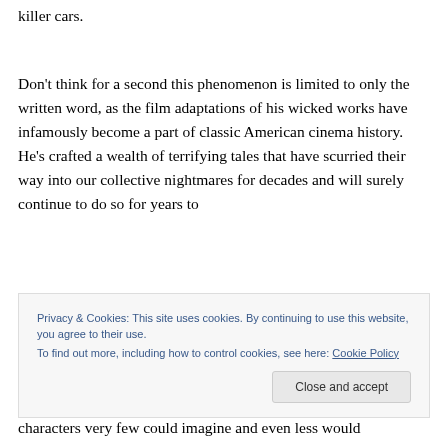killer cars.
Don't think for a second this phenomenon is limited to only the written word, as the film adaptations of his wicked works have infamously become a part of classic American cinema history.  He's crafted a wealth of terrifying tales that have scurried their way into our collective nightmares for decades and will surely continue to do so for years to
Privacy & Cookies: This site uses cookies. By continuing to use this website, you agree to their use.
To find out more, including how to control cookies, see here: Cookie Policy
characters very few could imagine and even less would